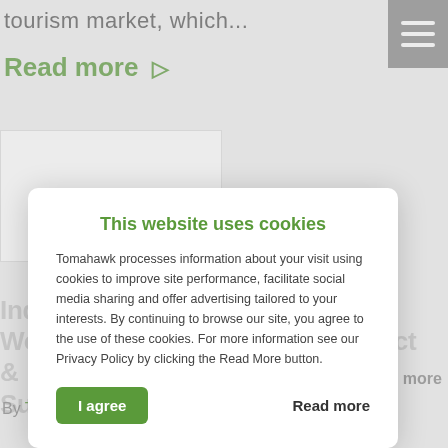tourism market, which...
Read more ▷
[Figure (screenshot): White image placeholder card for article thumbnail]
Industry Leaders on Nationwide Workshop Road Trip to Reconnect & Support Industry
By Tomahawk | June 23, 2022
[Figure (screenshot): Cookie consent modal dialog with title 'This website uses cookies', body text about Tomahawk processing information, an 'I agree' button and a 'Read more' link]